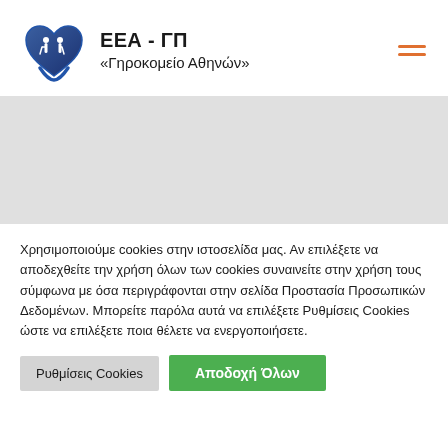[Figure (logo): ΕΕΑ-ΓΠ Γηροκομείο Αθηνών logo: blue heart with elderly couple silhouette and hand underneath, next to organization name text]
Χρησιμοποιούμε cookies στην ιστοσελίδα μας. Αν επιλέξετε να αποδεχθείτε την χρήση όλων των cookies συναινείτε στην χρήση τους σύμφωνα με όσα περιγράφονται στην σελίδα Προστασία Προσωπικών Δεδομένων. Μπορείτε παρόλα αυτά να επιλέξετε Ρυθμίσεις Cookies ώστε να επιλέξετε ποια θέλετε να ενεργοποιήσετε.
Ρυθμίσεις Cookies
Αποδοχή Όλων